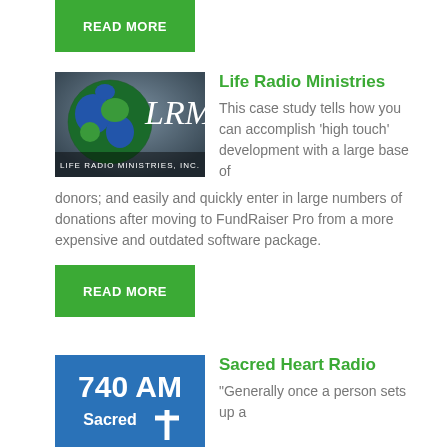[Figure (other): Green READ MORE button]
[Figure (logo): Life Radio Ministries logo — globe with LRM text and Life Radio Ministries Inc. below]
Life Radio Ministries
This case study tells how you can accomplish 'high touch' development with a large base of donors; and easily and quickly enter in large numbers of donations after moving to FundRaiser Pro from a more expensive and outdated software package.
[Figure (other): Green READ MORE button]
[Figure (logo): Sacred Heart Radio 740 AM logo — blue background with 740 AM and Sacred Heart text]
Sacred Heart Radio
“Generally once a person sets up a